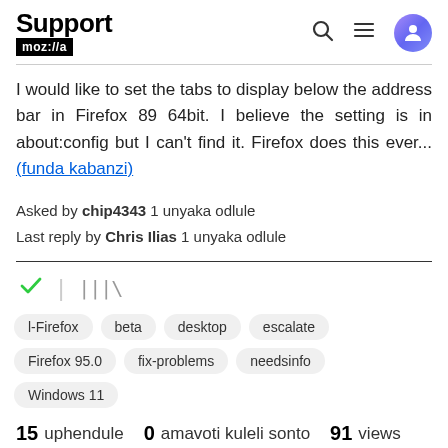Support mozilla//a
I would like to set the tabs to display below the address bar in Firefox 89 64bit. I believe the setting is in about:config but I can't find it. Firefox does this ever... (funda kabanzi)
Asked by chip4343 1 unyaka odlule
Last reply by Chris Ilias 1 unyaka odlule
[Figure (other): Action icons: green checkmark and library/bookmark icon]
Tags: l-Firefox, beta, desktop, escalate, Firefox 95.0, fix-problems, needsinfo, Windows 11
15 uphendule  0 amavoti kuleli sonto  91 views